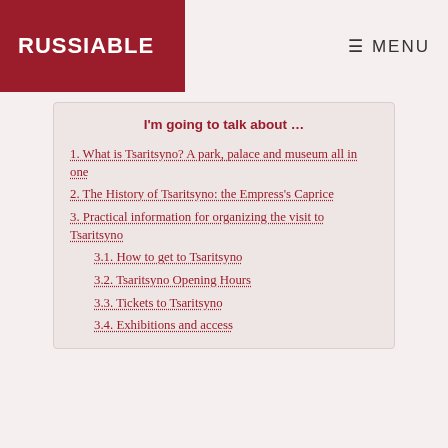RUSSIABLE   MENU
I'm going to talk about …
1. What is Tsaritsyno? A park, palace and museum all in one
2. The History of Tsaritsyno: the Empress's Caprice
3. Practical information for organizing the visit to Tsaritsyno
3.1. How to get to Tsaritsyno
3.2. Tsaritsyno Opening Hours
3.3. Tickets to Tsaritsyno
3.4. Exhibitions and access